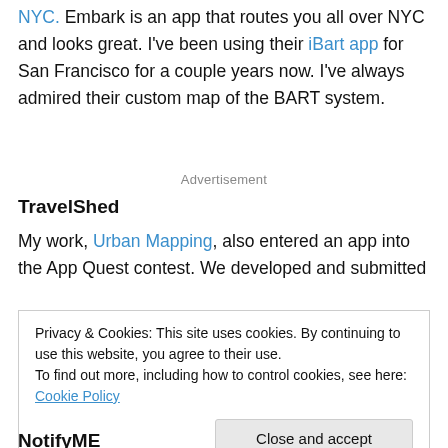NYC. Embark is an app that routes you all over NYC and looks great. I've been using their iiBart app for San Francisco for a couple years now. I've always admired their custom map of the BART system.
Advertisement
TravelShed
My work, Urban Mapping, also entered an app into the App Quest contest. We developed and submitted
Privacy & Cookies: This site uses cookies. By continuing to use this website, you agree to their use.
To find out more, including how to control cookies, see here: Cookie Policy
Close and accept
NotifyME